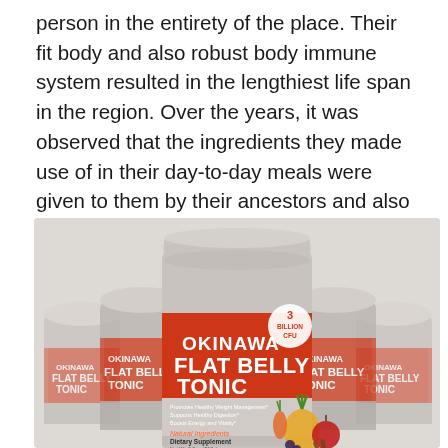person in the entirety of the place. Their fit body and also robust body immune system resulted in the lengthiest life span in the region. Over the years, it was observed that the ingredients they made use of in their day-to-day meals were given to them by their ancestors and also were the factor behind their fit and also slim body.
[Figure (photo): Product photo showing multiple containers of 'Okinawa Flat Belly Tonic' dietary supplement powder. The central container has a red and white label with '3 BILLION CFU' badge, listing benefits: Promotes Healthy Weight Management, Supports Healthy Digestion, Boosts Energy and Vitality. Natural Ingredients. Dietary Supplement. Background shows blurred additional containers.]